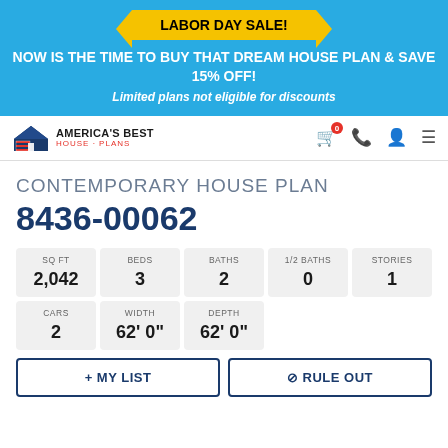LABOR DAY SALE!
NOW IS THE TIME TO BUY THAT DREAM HOUSE PLAN & SAVE 15% OFF!
Limited plans not eligible for discounts
[Figure (logo): America's Best House Plans logo with house icon and American flag]
CONTEMPORARY HOUSE PLAN
8436-00062
| SQ FT | BEDS | BATHS | 1/2 BATHS | STORIES |
| --- | --- | --- | --- | --- |
| 2,042 | 3 | 2 | 0 | 1 |
| CARS | WIDTH | DEPTH |
| --- | --- | --- |
| 2 | 62' 0" | 62' 0" |
+ MY LIST
⊘ RULE OUT